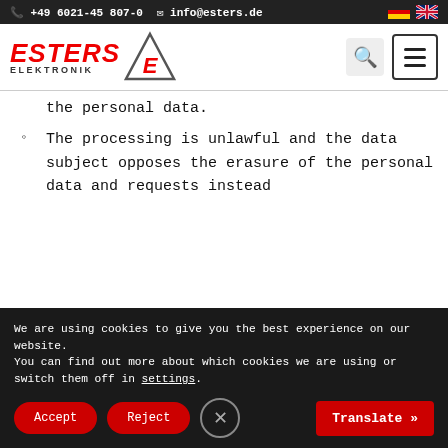+49 6021-45 807-0  info@esters.de
[Figure (logo): Esters Elektronik logo with red italic text ESTERS, subtitle ELEKTRONIK, and a triangle with E]
the personal data.
The processing is unlawful and the data subject opposes the erasure of the personal data and requests instead
We are using cookies to give you the best experience on our website.
You can find out more about which cookies we are using or switch them off in settings.